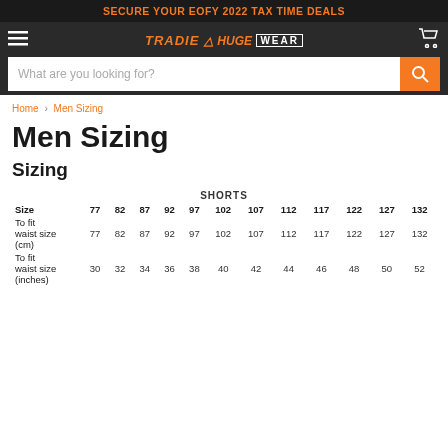SECURE YOUR EOFY 2022 TAX TIME DEALS
[Figure (logo): Tradie Wear logo with orange italic text and white WEAR text in box]
What are you looking for?
Home › Men Sizing
Men Sizing
Sizing
| SHORTS |  |  |  |  |  |  |  |  |  |  |  |  |
| --- | --- | --- | --- | --- | --- | --- | --- | --- | --- | --- | --- | --- |
| Size | 77 | 82 | 87 | 92 | 97 | 102 | 107 | 112 | 117 | 122 | 127 | 132 |
| To fit waist size (cm) | 77 | 82 | 87 | 92 | 97 | 102 | 107 | 112 | 117 | 122 | 127 | 132 |
| To fit waist size (inches) | 30 | 32 | 34 | 36 | 38 | 40 | 42 | 44 | 46 | 48 | 50 | 52 |